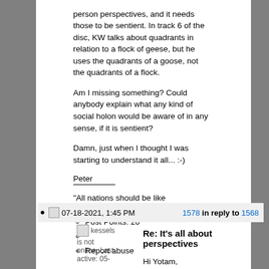person perspectives, and it needs those to be sentient. In track 6 of the disc, KW talks about quadrants in relation to a flock of geese, but he uses the quadrants of a goose, not the quadrants of a flock.
Am I missing something? Could anybody explain what any kind of social holon would be aware of in any sense, if it is sentient?
Damn, just when I thought I was starting to understand it all... :-)
Peter
"All nations should be like Amsterdam" -- Ken Wilber
Post Points: 20
Report abuse
07-18-2021, 1:45 PM   1578 in reply to 1568
kessels is not online. Last active: 05-
Re: It's all about perspectives
Hi Yotam,